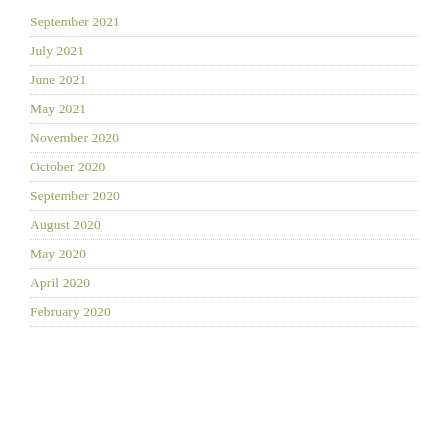September 2021
July 2021
June 2021
May 2021
November 2020
October 2020
September 2020
August 2020
May 2020
April 2020
February 2020